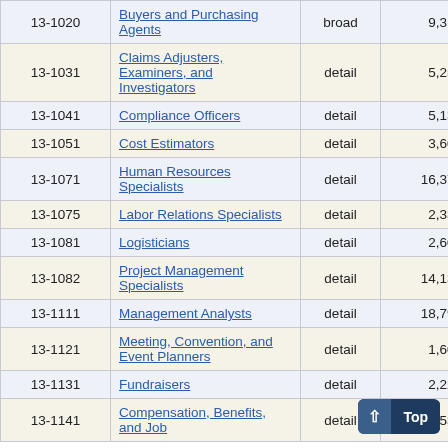| Code | Occupation | Level | Employment | ... |
| --- | --- | --- | --- | --- |
| 13-1020 | Buyers and Purchasing Agents | broad | 9,310 |  |
| 13-1031 | Claims Adjusters, Examiners, and Investigators | detail | 5,250 |  |
| 13-1041 | Compliance Officers | detail | 5,130 |  |
| 13-1051 | Cost Estimators | detail | 3,600 |  |
| 13-1071 | Human Resources Specialists | detail | 16,370 |  |
| 13-1075 | Labor Relations Specialists | detail | 2,330 |  |
| 13-1081 | Logisticians | detail | 2,600 |  |
| 13-1082 | Project Management Specialists | detail | 14,130 |  |
| 13-1111 | Management Analysts | detail | 18,790 |  |
| 13-1121 | Meeting, Convention, and Event Planners | detail | 1,600 | 14 |
| 13-1131 | Fundraisers | detail | 2,220 | 10 |
| 13-1141 | Compensation, Benefits, and Job... | detail | 1,530 |  |